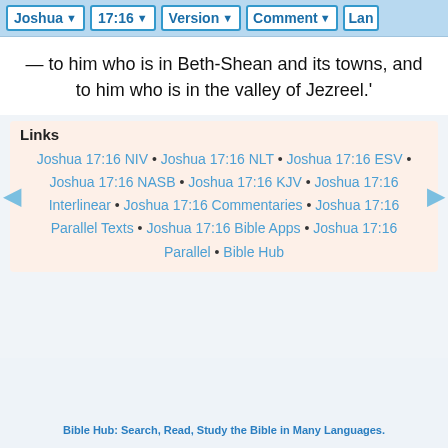Joshua 17:16 | Version | Comment | Lan
— to him who is in Beth-Shean and its towns, and to him who is in the valley of Jezreel.'
Links
Joshua 17:16 NIV • Joshua 17:16 NLT • Joshua 17:16 ESV • Joshua 17:16 NASB • Joshua 17:16 KJV • Joshua 17:16 Interlinear • Joshua 17:16 Commentaries • Joshua 17:16 Parallel Texts • Joshua 17:16 Bible Apps • Joshua 17:16 Parallel • Bible Hub
Bible Hub: Search, Read, Study the Bible in Many Languages.